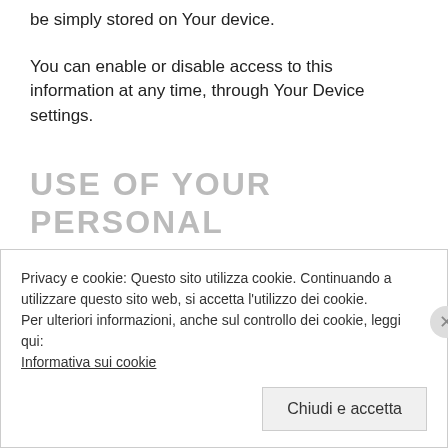be simply stored on Your device.
You can enable or disable access to this information at any time, through Your Device settings.
USE OF YOUR PERSONAL DATA
The Company may use Personal Data for the following purposes:
Privacy e cookie: Questo sito utilizza cookie. Continuando a utilizzare questo sito web, si accetta l’utilizzo dei cookie.
Per ulteriori informazioni, anche sul controllo dei cookie, leggi qui:
Informativa sui cookie
Chiudi e accetta